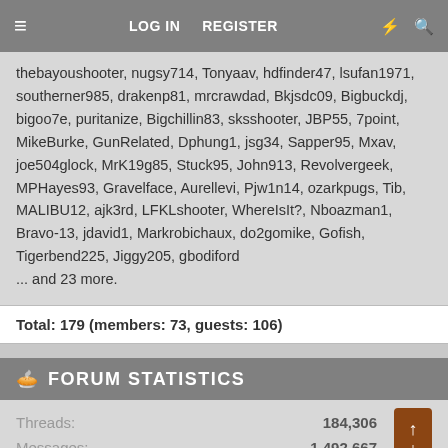≡  LOG IN  REGISTER  ⚡  🔍
thebayoushooter, nugsy714, Tonyaav, hdfinder47, lsufan1971, southerner985, drakenp81, mrcrawdad, Bkjsdc09, Bigbuckdj, bigoo7e, puritanize, Bigchillin83, sksshooter, JBP55, 7point, MikeBurke, GunRelated, Dphung1, jsg34, Sapper95, Mxav, joe504glock, MrK19g85, Stuck95, John913, Revolvergeek, MPHayes93, Gravelface, Aurellevi, Pjw1n14, ozarkpugs, Tib, MALIBU12, ajk3rd, LFKLshooter, WhereIsIt?, Nboazman1, Bravo-13, jdavid1, Markrobichaux, do2gomike, Gofish, Tigerbend225, Jiggy205, gbodiford ... and 23 more.
Total: 179 (members: 73, guests: 106)
FORUM STATISTICS
|  |  |
| --- | --- |
| Threads: | 184,306 |
| Messages: | 1,492,667 |
| Members: | 27,315 |
| Latest member: | Cbg112594 |